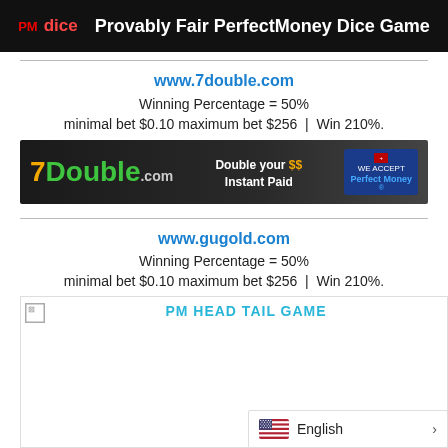[Figure (screenshot): PM Dice banner: Provably Fair PerfectMoney Dice Game on black background]
www.7double.com
Winning Percentage = 50%
minimal bet $0.10 maximum bet $256  |  Win 210%.
[Figure (screenshot): 7Double.com banner: Double your $$ Instant Paid, We Accept Perfect Money]
www.gugold.com
Winning Percentage = 50%
minimal bet $0.10 maximum bet $256  |  Win 210%.
[Figure (screenshot): PM HEAD TAIL GAME banner with broken image icon]
English